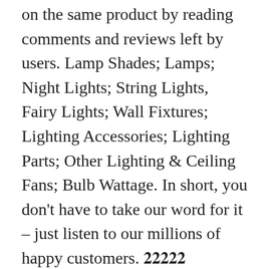on the same product by reading comments and reviews left by users. Lamp Shades; Lamps; Night Lights; String Lights, Fairy Lights; Wall Fixtures; Lighting Accessories; Lighting Parts; Other Lighting & Ceiling Fans; Bulb Wattage. In short, you don't have to take our word for it – just listen to our millions of happy customers. 𝟐𝟐𝟐𝟐𝟐 33010002000092𝟐 You'll find official stores for brand names alongside small independent discount sellers, all of whom offer quick shipping and reliable, as well as convenient and safe, payment methods, no matter how much you choose to spend. 12v G4 Capsules; 240v G9 Capsules; 12v GY6.35 Capsules; LED Fluorescent Tubes. Our wide range of Halogen Lampholder fittings available in a... Bulbs.com